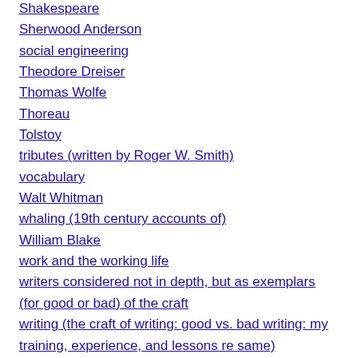Shakespeare
Sherwood Anderson
social engineering
Theodore Dreiser
Thomas Wolfe
Thoreau
Tolstoy
tributes (written by Roger W. Smith)
vocabulary
Walt Whitman
whaling (19th century accounts of)
William Blake
work and the working life
writers considered not in depth, but as exemplars (for good or bad) of the craft
writing (the craft of writing: good vs. bad writing: my training, experience, and lessons re same)
writing as it relates to my blog posts and readers' sensitivities
writing/literature – miscellaneous observations